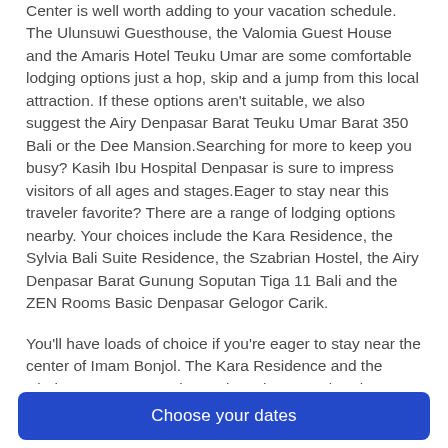Center is well worth adding to your vacation schedule. The Ulunsuwi Guesthouse, the Valomia Guest House and the Amaris Hotel Teuku Umar are some comfortable lodging options just a hop, skip and a jump from this local attraction. If these options aren't suitable, we also suggest the Airy Denpasar Barat Teuku Umar Barat 350 Bali or the Dee Mansion.Searching for more to keep you busy? Kasih Ibu Hospital Denpasar is sure to impress visitors of all ages and stages.Eager to stay near this traveler favorite? There are a range of lodging options nearby. Your choices include the Kara Residence, the Sylvia Bali Suite Residence, the Szabrian Hostel, the Airy Denpasar Barat Gunung Soputan Tiga 11 Bali and the ZEN Rooms Basic Denpasar Gelogor Carik.
You'll have loads of choice if you're eager to stay near the center of Imam Bonjol. The Kara Residence and the Choice Stay are tempting options that won't break your budget.
The Athena Garden Villa & Spa and the Grania Bali Villa are great picks if you're looking for a luxurious place to rest your head.
Two more noteworthy places are the Dee Mansion and the Quest San Hotel Denpasar. Don't forget to look into their great
Choose your dates